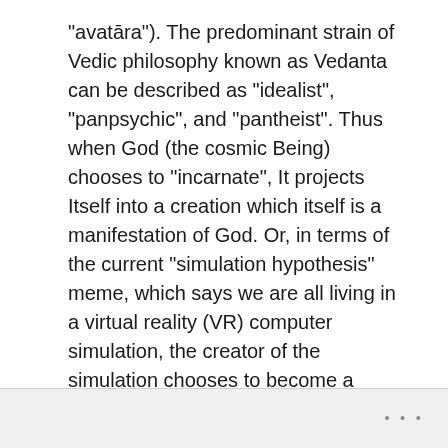“avatāra”). The predominant strain of Vedic philosophy known as Vedanta can be described as “idealist”, “panpsychic”, and “pantheist”. Thus when God (the cosmic Being) chooses to “incarnate”, It projects Itself into a creation which itself is a manifestation of God. Or, in terms of the current “simulation hypothesis” meme, which says we are all living in a virtual reality (VR) computer simulation, the creator of the simulation chooses to become a player within the simulation. Thus, the Hindu mindset doesn’t have any problem with a godlike AGI/SSI system appearing on earth soon, and can welcome such an event.
•••